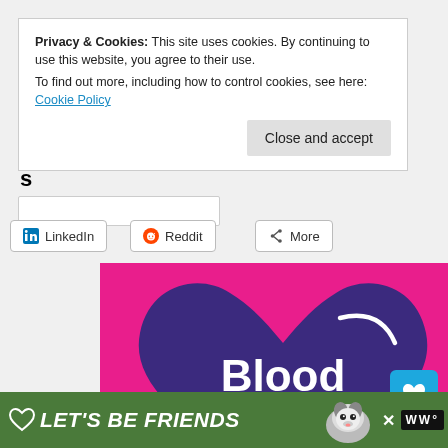Privacy & Cookies: This site uses cookies. By continuing to use this website, you agree to their use.
To find out more, including how to control cookies, see here: Cookie Policy
Close and accept
LinkedIn
Reddit
More
[Figure (infographic): A magenta/pink background infographic with a large dark purple heart shape in the center. Inside the heart, bold white text reads 'Blood Pressure is' and below in yellow/gold bold text 'serious'. A white curved line decorates the upper right of the heart.]
[Figure (infographic): Green advertisement banner at the bottom with a heart outline icon, bold italic white text 'LET'S BE FRIENDS', a cartoon husky dog image, a close X button, and a dark logo on the right.]